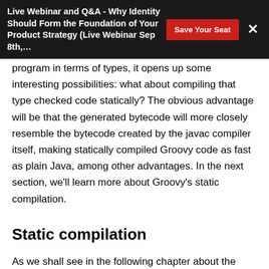Live Webinar and Q&A - Why Identity Should Form the Foundation of Your Product Strategy (Live Webinar Sep 8th,…
program in terms of types, it opens up some interesting possibilities: what about compiling that type checked code statically? The obvious advantage will be that the generated bytecode will more closely resemble the bytecode created by the javac compiler itself, making statically compiled Groovy code as fast as plain Java, among other advantages. In the next section, we'll learn more about Groovy's static compilation.
Static compilation
As we shall see in the following chapter about the JDK 7 alignments, Groovy 2.0 supports the new invokedynamic instruction of the JVM and its…